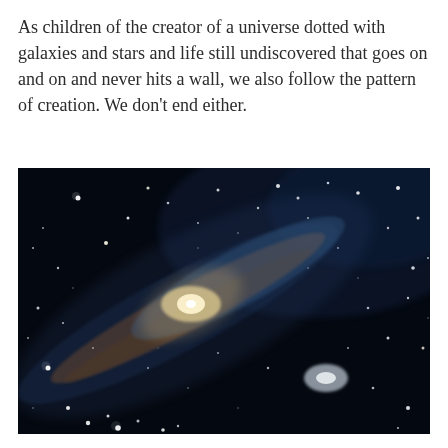As children of the creator of a universe dotted with galaxies and stars and life still undiscovered that goes on and on and never hits a wall, we also follow the pattern of creation. We don’t end either.
[Figure (photo): A spiral galaxy (Andromeda) photographed against a dark star-filled sky. The galaxy shows a bright central core with bluish spiral arms extending diagonally across the image, surrounded by numerous bright stars.]